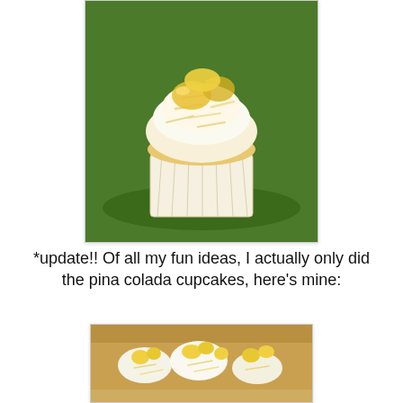[Figure (photo): Close-up photo of a pina colada cupcake with white frosting, shredded coconut, and pineapple chunks on top, sitting in a white cupcake liner on a green plate]
*update!!  Of all my fun ideas, I actually only did the pina colada cupcakes, here's mine:
[Figure (photo): Photo of pina colada cupcakes with white frosting, yellow pineapple pieces, and shredded coconut on top, viewed from above]